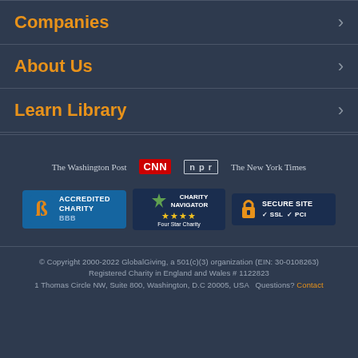Companies
About Us
Learn Library
[Figure (logo): Media logos: The Washington Post, CNN, NPR, The New York Times]
[Figure (logo): Trust badges: BBB Accredited Charity, Charity Navigator Four Star Charity, Secure Site SSL PCI]
© Copyright 2000-2022 GlobalGiving, a 501(c)(3) organization (EIN: 30-0108263) Registered Charity in England and Wales # 1122823 1 Thomas Circle NW, Suite 800, Washington, D.C 20005, USA  Questions?  Contact